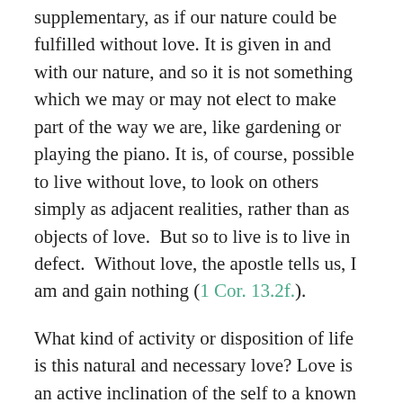supplementary, as if our nature could be fulfilled without love. It is given in and with our nature, and so it is not something which we may or may not elect to make part of the way we are, like gardening or playing the piano. It is, of course, possible to live without love, to look on others simply as adjacent realities, rather than as objects of love.  But so to live is to live in defect.  Without love, the apostle tells us, I am and gain nothing (1 Cor. 13.2f.).
What kind of activity or disposition of life is this natural and necessary love? Love is an active inclination of the self to a known good, an extension of mind, will and affections to that good, and it generates an aspiration to be in its company, there to find satisfaction. Because we are living creatures, we move, seeking the completion of our